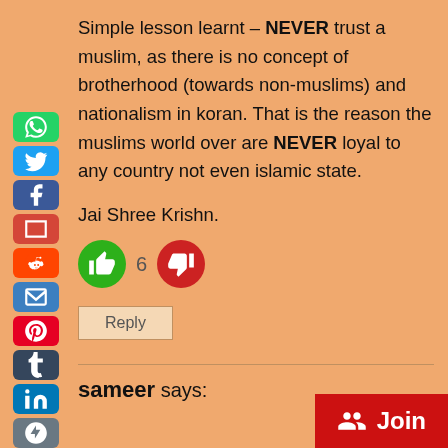Simple lesson learnt – NEVER trust a muslim, as there is no concept of brotherhood (towards non-muslims) and nationalism in koran. That is the reason the muslims world over are NEVER loyal to any country not even islamic state.
Jai Shree Krishn.
[Figure (infographic): Thumbs up (green) and thumbs down (red) reaction buttons with vote count 6]
Reply
sameer says:
[Figure (infographic): Red Join button with group icon in bottom right corner]